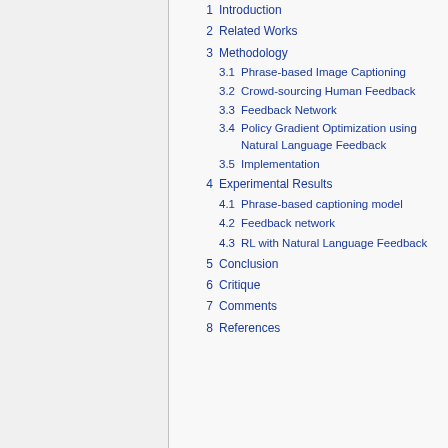1  Introduction
2  Related Works
3  Methodology
3.1  Phrase-based Image Captioning
3.2  Crowd-sourcing Human Feedback
3.3  Feedback Network
3.4  Policy Gradient Optimization using Natural Language Feedback
3.5  Implementation
4  Experimental Results
4.1  Phrase-based captioning model
4.2  Feedback network
4.3  RL with Natural Language Feedback
5  Conclusion
6  Critique
7  Comments
8  References